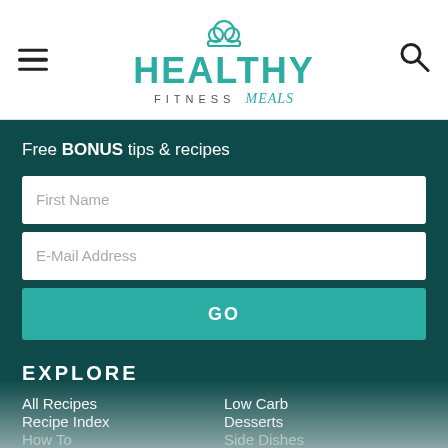HEALTHY FITNESS meals — navigation header with hamburger menu and search icon
Free BONUS tips & recipes
First Name
E-Mail Address
GO
EXPLORE
All Recipes
Low Carb
Recipe Index
Desserts
How To
Side Dishes
My Favorites
Gluten Free